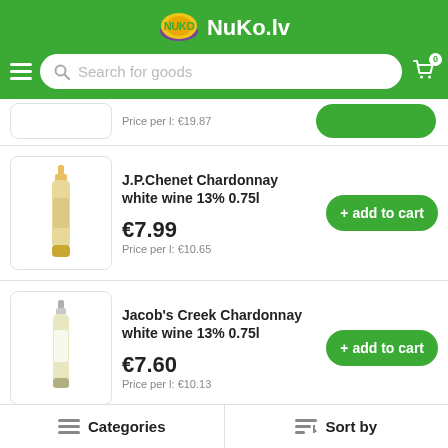NuKo.lv — Search for goods
Price per l: €19.87
J.P.Chenet Chardonnay white wine 13% 0.75l
€7.99
Price per l: €10.65
Jacob's Creek Chardonnay white wine 13% 0.75l
€7.60
Price per l: €10.13
Jacob's Creek Semillon Chardonnay white wine 10.9% 0.187l
Categories   Sort by